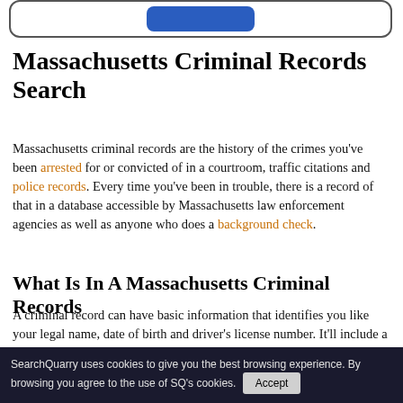[Figure (other): Search bar UI element with a blue search button inside a rounded rectangle border]
Massachusetts Criminal Records Search
Massachusetts criminal records are the history of the crimes you've been arrested for or convicted of in a courtroom, traffic citations and police records. Every time you've been in trouble, there is a record of that in a database accessible by Massachusetts law enforcement agencies as well as anyone who does a background check.
What Is In A Massachusetts Criminal Records
A criminal record can have basic information that identifies you like your legal name, date of birth and driver's license number. It'll include a history of where you've lived throughout your life as well as any distinguishing marks that will identify you like tattoos or scars.
SearchQuarry uses cookies to give you the best browsing experience. By browsing you agree to the use of SQ's cookies. Accept